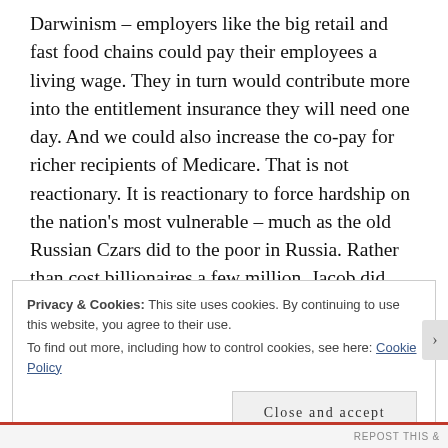Darwinism – employers like the big retail and fast food chains could pay their employees a living wage. They in turn would contribute more into the entitlement insurance they will need one day. And we could also increase the co-pay for richer recipients of Medicare. That is not reactionary. It is reactionary to force hardship on the nation's most vulnerable – much as the old Russian Czars did to the poor in Russia. Rather than cost billionaires a few million. Jacob did mention something that all of us care about, except for the particulars obviously,
Privacy & Cookies: This site uses cookies. By continuing to use this website, you agree to their use.
To find out more, including how to control cookies, see here: Cookie Policy
Close and accept